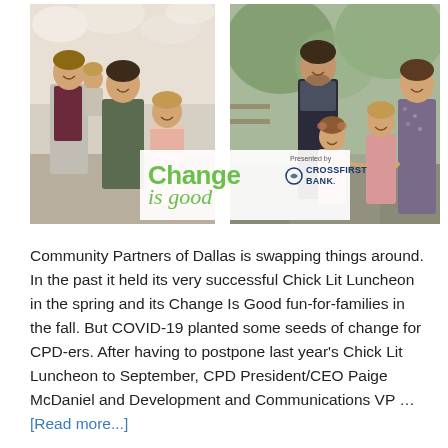[Figure (photo): Two family photos side by side. Left: a family of four (man, woman, toddler boy, young girl) posed outdoors among spring blossoms. Right: a man, woman, and two young girls in pink dresses walking hand-in-hand outdoors. In the center overlap area is the 'Change is good' event logo presented by CrossFirst Bank.]
Community Partners of Dallas is swapping things around. In the past it held its very successful Chick Lit Luncheon in the spring and its Change Is Good fun-for-families in the fall. But COVID-19 planted some seeds of change for CPD-ers. After having to postpone last year's Chick Lit Luncheon to September, CPD President/CEO Paige McDaniel and Development and Communications VP … [Read more...]